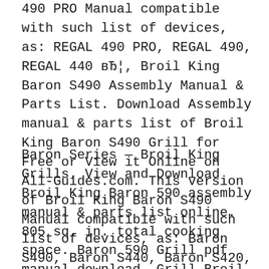490 PRO Manual compatible with such list of devices, as: REGAL 490 PRO, REGAL 490, REGAL 440 вЂ¦, Broil King Baron S490 Assembly Manual & Parts List. Download Assembly manual & parts list of Broil King Baron S490 Grill for Free or View it Online on All-Guides.com. This version of Broil King Baron S490 Manual compatible with such list of devices, as: Baron S490, Baron S440, Baron S420, Baron 440, Baron вЂ¦.
Baron Series — Broil King Grills. View and Download Broil King Baron 590 assembly manual & parts list online. 805 sq. in. total cooking space. Baron 590 Grill pdf manual download. Grill Broil King BARON 440 Series Assembly Instructions Manual (19 pages) Lp gas barbecue grill (24 pages) Grill Broil King BCR